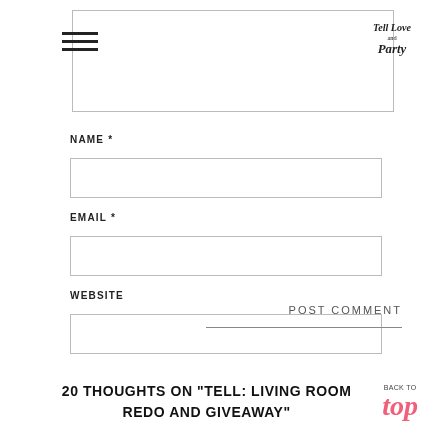[Figure (screenshot): Partial comment text box at top of page]
[Figure (logo): Tell Love and Party handwritten logo in top right corner]
NAME *
[Figure (screenshot): Name input field box]
EMAIL *
[Figure (screenshot): Email input field box]
WEBSITE
[Figure (screenshot): Website input field box]
POST COMMENT
20 THOUGHTS ON “TELL: LIVING ROOM REDO AND GIVEAWAY”